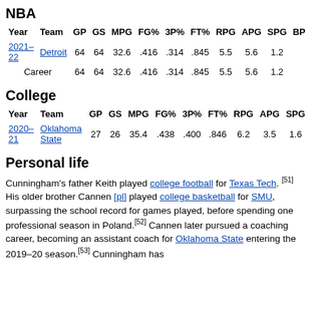NBA
| Year | Team | GP | GS | MPG | FG% | 3P% | FT% | RPG | APG | SPG | BP |
| --- | --- | --- | --- | --- | --- | --- | --- | --- | --- | --- | --- |
| 2021–22 | Detroit | 64 | 64 | 32.6 | .416 | .314 | .845 | 5.5 | 5.6 | 1.2 |  |
| Career |  | 64 | 64 | 32.6 | .416 | .314 | .845 | 5.5 | 5.6 | 1.2 |  |
College
| Year | Team | GP | GS | MPG | FG% | 3P% | FT% | RPG | APG | SPG |
| --- | --- | --- | --- | --- | --- | --- | --- | --- | --- | --- |
| 2020–21 | Oklahoma State | 27 | 26 | 35.4 | .438 | .400 | .846 | 6.2 | 3.5 | 1.6 |
Personal life
Cunningham's father Keith played college football for Texas Tech. [51] His older brother Cannen [pl] played college basketball for SMU, surpassing the school record for games played, before spending one professional season in Poland.[52] Cannen later pursued a coaching career, becoming an assistant coach for Oklahoma State entering the 2019–20 season.[53] Cunningham has